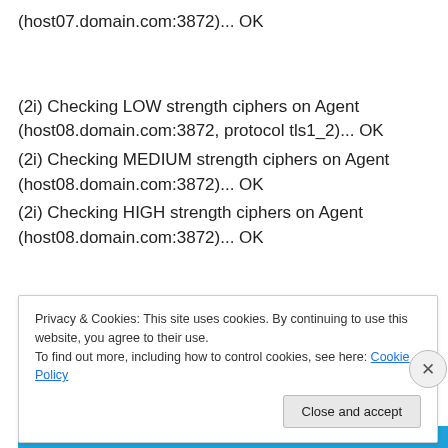(host07.domain.com:3872)... OK
(2i) Checking LOW strength ciphers on Agent (host08.domain.com:3872, protocol tls1_2)... OK
(2i) Checking MEDIUM strength ciphers on Agent (host08.domain.com:3872)... OK
(2i) Checking HIGH strength ciphers on Agent (host08.domain.com:3872)... OK
Privacy & Cookies: This site uses cookies. By continuing to use this website, you agree to their use.
To find out more, including how to control cookies, see here: Cookie Policy
Close and accept